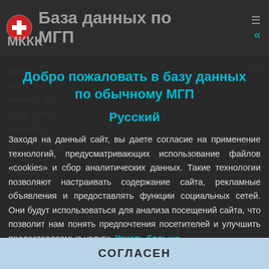База данных по МГП  МККК
threat to Israel from militants in Gaza, varies constantly. Rather than focus on whether the
Добро пожаловать в базу данных по обычному МГП
Русский
Заходя на данный сайт, вы даете согласие на применение технологий, предусматривающих использование файлов «cookies» и сбор аналитических данных. Такие технологии позволяют настраивать содержание сайта, рекламные объявления и предоставлять функции социальных сетей. Они будут использоваться для анализа посещений сайта, что позволит нам понять предпочтения посетителей и улучшить предоставляемые услуги. Узнать больше
СОГЛАСЕН